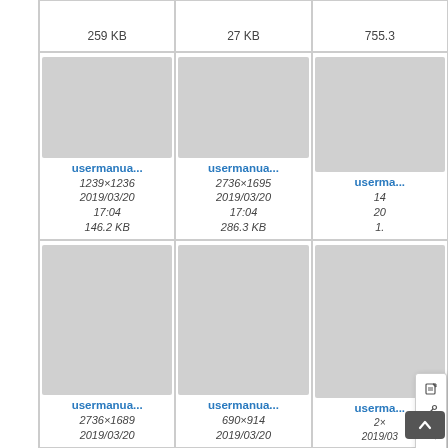[Figure (screenshot): File manager/media library grid view showing image thumbnails with filenames, dimensions, dates, and file sizes. Top row shows partial cells with sizes: 259 KB, 27 KB, 755.3. Middle row shows three cells: usermanua... (1239×1236, 2019/03/20 17:04, 146.2 KB), usermanua... (2736×1695, 2019/03/20 17:04, 286.3 KB), usermanua... (partially visible, with context menu showing edit/link/pdf/anchor/plugin icons). Bottom row shows three cells: usermanua... (2736×1689, 2019/03/20), usermanua... (690×914, 2019/03/20), usermanua... (partially visible, 2019/03). A scroll-to-top button is visible at the bottom right.]